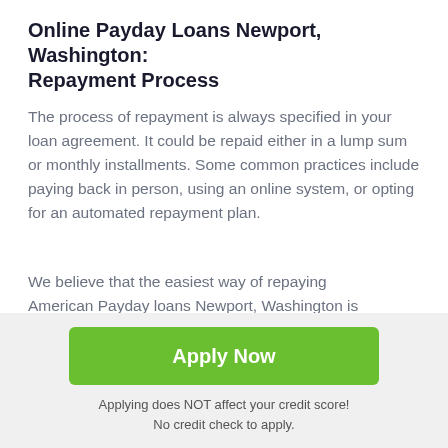Online Payday Loans Newport, Washington: Repayment Process
The process of repayment is always specified in your loan agreement. It could be repaid either in a lump sum or monthly installments. Some common practices include paying back in person, using an online system, or opting for an automated repayment plan.
We believe that the easiest way of repaying American Payday loans Newport, Washington is through online payments. It is up to you to decide whether to consent automatic debits. Keep in mind that it is illegal for len to insist on this repayment option. If you choose it by
[Figure (other): Scroll-to-top button: dark gray square with white upward arrow]
Apply Now
Applying does NOT affect your credit score!
No credit check to apply.